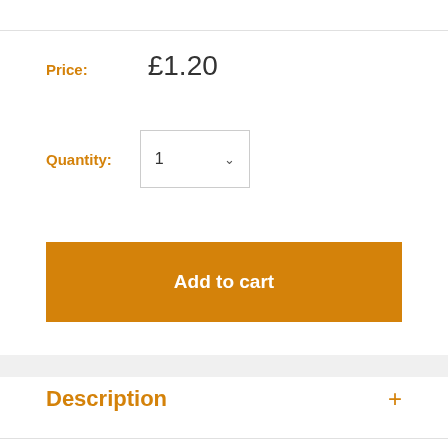Price: £1.20
Quantity: 1
Add to cart
Description